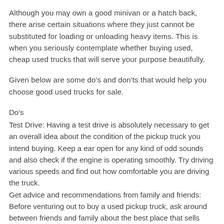Although you may own a good minivan or a hatch back, there arise certain situations where they just cannot be substituted for loading or unloading heavy items. This is when you seriously contemplate whether buying used, cheap used trucks that will serve your purpose beautifully.
Given below are some do's and don'ts that would help you choose good used trucks for sale.
Do's
Test Drive: Having a test drive is absolutely necessary to get an overall idea about the condition of the pickup truck you intend buying. Keep a ear open for any kind of odd sounds and also check if the engine is operating smoothly. Try driving various speeds and find out how comfortable you are driving the truck.
Get advice and recommendations from family and friends: Before venturing out to buy a used pickup truck, ask around between friends and family about the best place that sells used trucks. Some of them may even